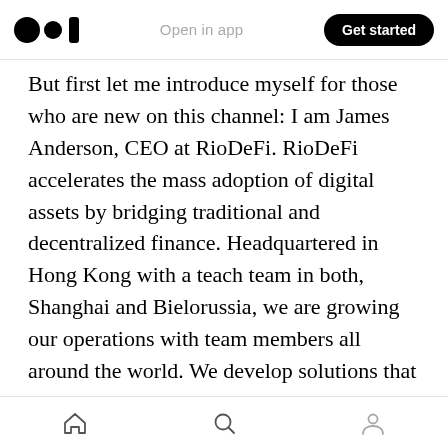Open in app | Get started
But first let me introduce myself for those who are new on this channel: I am James Anderson, CEO at RioDeFi. RioDeFi accelerates the mass adoption of digital assets by bridging traditional and decentralized finance. Headquartered in Hong Kong with a teach team in both, Shanghai and Bielorussia, we are growing our operations with team members all around the world. We develop solutions that connect banking institutions with blockchain systems. Our applications enable lower transaction fees, faster
Home | Search | Profile